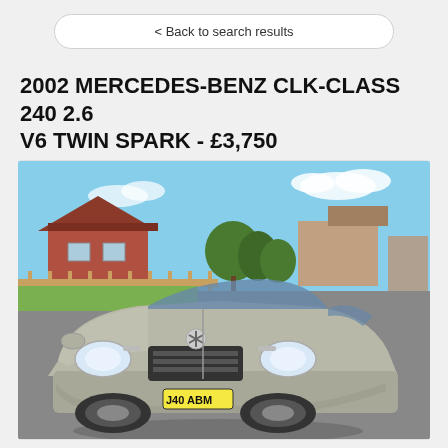< Back to search results
2002 MERCEDES-BENZ CLK-CLASS 240 2.6 V6 TWIN SPARK - £3,750
[Figure (photo): Front view of a silver 2002 Mercedes-Benz CLK-Class coupe with number plate J40 ABM, parked on a residential driveway with houses and trees in the background under a blue sky.]